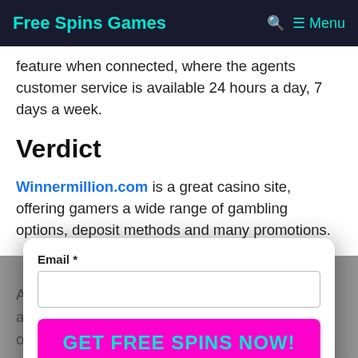Free Spins Games  🔍  ≡ Menu
feature when connected, where the agents customer service is available 24 hours a day, 7 days a week.
Verdict
Winnermillion.com is a great casino site, offering gamers a wide range of gambling options, deposit methods and many promotions. Alt… ve are… off… pr… it wo…
[Figure (screenshot): Email signup popup with 'Email *' text field and a bright pink 'GET FREE SPINS NOW!' button, overlaid on the page content]